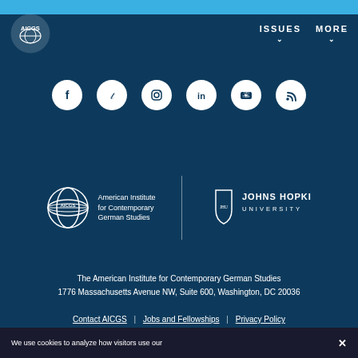AICGS — American Institute for Contemporary German Studies — navigation header with ISSUES and MORE menus
[Figure (logo): Row of social media icons: Facebook, Twitter, Instagram, LinkedIn, YouTube, RSS feed — white circles on dark blue background]
[Figure (logo): AICGS logo with text 'American Institute for Contemporary German Studies' on left, vertical divider, Johns Hopkins University shield logo and wordmark on right]
The American Institute for Contemporary German Studies
1776 Massachusetts Avenue NW, Suite 600, Washington, DC 20036
Contact AICGS | Jobs and Fellowships | Privacy Policy
We use cookies to analyze how visitors use our...